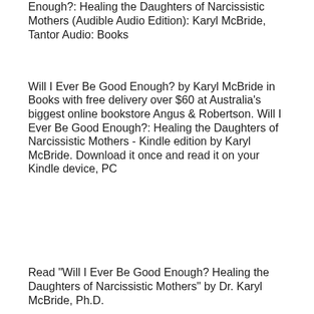Enough?: Healing the Daughters of Narcissistic Mothers (Audible Audio Edition): Karyl McBride, Tantor Audio: Books
Will I Ever Be Good Enough? by Karyl McBride in Books with free delivery over $60 at Australia's biggest online bookstore Angus & Robertson. Will I Ever Be Good Enough?: Healing the Daughters of Narcissistic Mothers - Kindle edition by Karyl McBride. Download it once and read it on your Kindle device, PC
Read "Will I Ever Be Good Enough? Healing the Daughters of Narcissistic Mothers" by Dr. Karyl McBride, Ph.D.